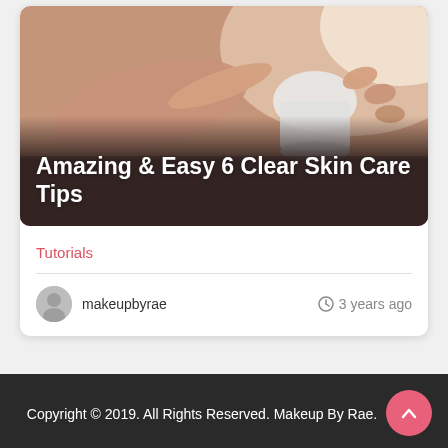[Figure (photo): Hands dipping finger into a white cream jar, skincare product, warm tones. Overlay title text: Amazing & Easy 6 Clear Skin Care Tips]
Amazing & Easy 6 Clear Skin Care Tips
Tutorials
makeupbyrae
3 years ago
Copyright © 2019. All Rights Reserved. Makeup By Rae.